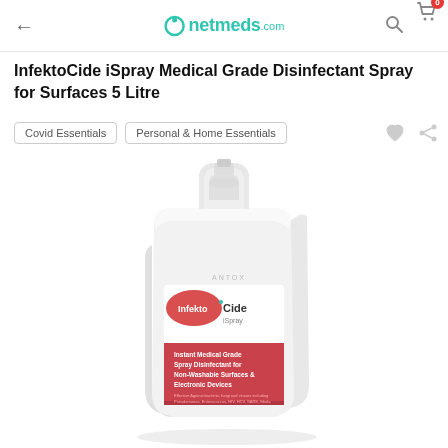netmeds.com
InfektoCide iSpray Medical Grade Disinfectant Spray for Surfaces 5 Litre
Covid Essentials   Personal & Home Essentials
[Figure (photo): 5-litre white jerrycan container of InfektoCide iSpray Medical Grade Disinfectant Spray, with a red and white label on the front reading 'Instant Medical Grade Spray Disinfectant for Non-Washable Surfaces & Electronic Devices']